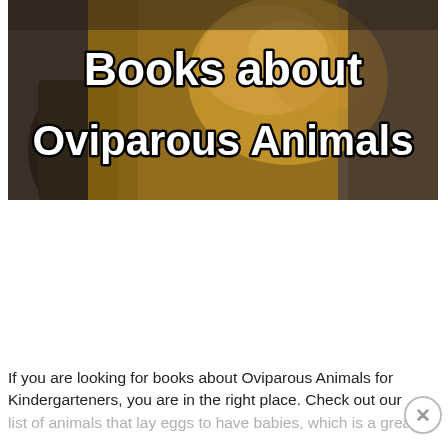[Figure (photo): A banner image showing a person holding an illustrated book featuring a hen/chicken. Bold rounded black text with white outline reads 'Books about Oviparous Animals' overlaid on the image.]
If you are looking for books about Oviparous Animals for Kindergarteners, you are in the right place. Check out our list of animals that lay eggs to have babies, which is a great